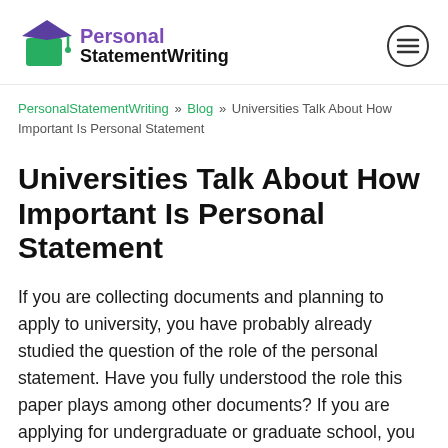Personal StatementWriting
PersonalStatementWriting » Blog » Universities Talk About How Important Is Personal Statement
Universities Talk About How Important Is Personal Statement
If you are collecting documents and planning to apply to university, you have probably already studied the question of the role of the personal statement. Have you fully understood the role this paper plays among other documents? If you are applying for undergraduate or graduate school, you need to create a good personal